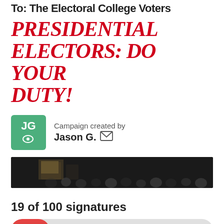To: The Electoral College Voters
PRESIDENTIAL ELECTORS: DO YOUR DUTY!
Campaign created by Jason G.
[Figure (photo): Dark photo of a crowd, likely in a formal chamber or assembly hall.]
19 of 100 signatures
[Figure (other): Progress bar showing 19% completion (19 of 100 signatures), red fill on light grey background.]
SIGN